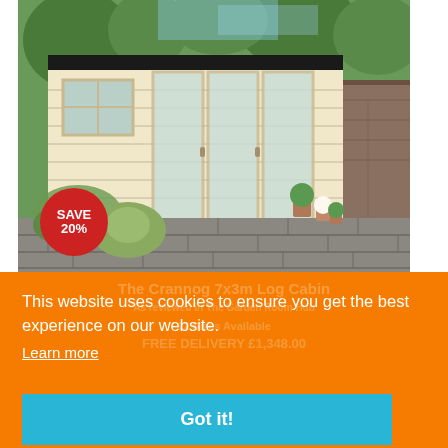[Figure (photo): Photo of a wooden log cabin/garden room with large glass doors and windows, set in a landscaped garden with paving stones, plants, and a stone wall. A red circular badge reads SAVE 20%.]
This website uses cookies to ensure you get the best experience on our website.
Learn more
Got it!
The Crannog 7x3m Log Cabin
12 Sizes Available
FREE DELIVERY £1,348.00
or £121.13 per month